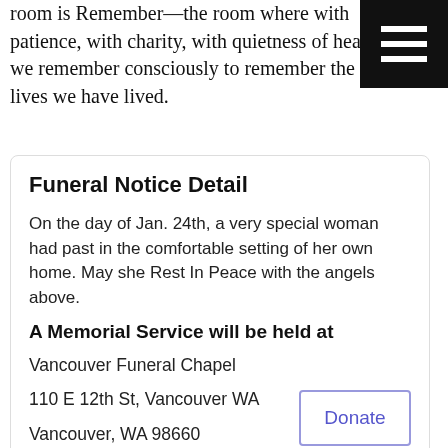room is Remember—the room where with patience, with charity, with quietness of heart we remember consciously to remember the lives we have lived.
Funeral Notice Detail
On the day of Jan. 24th, a very special woman had past in the comfortable setting of her own home. May she Rest In Peace with the angels above.
A Memorial Service will be held at
Vancouver Funeral Chapel
110 E 12th St, Vancouver WA
Vancouver, WA 98660
On: Jan 27, 2017 — At: 8:30 AM